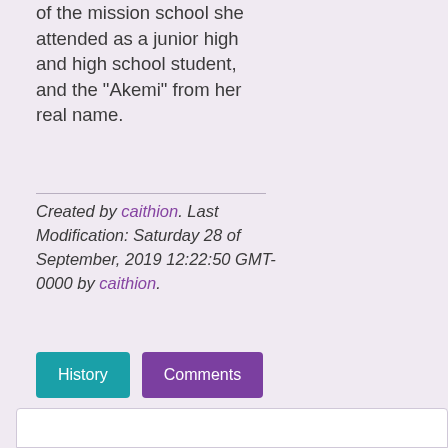of the mission school she attended as a junior high and high school student, and the "Akemi" from her real name.
Created by caithion. Last Modification: Saturday 28 of September, 2019 12:22:50 GMT-0000 by caithion.